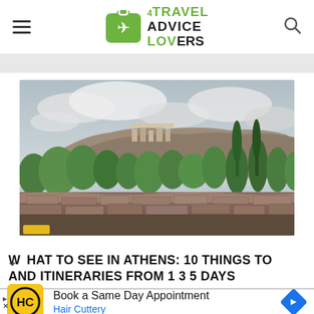4TRAVEL ADVICE LOVERS — site navigation header with hamburger menu and search icon
[Figure (photo): Panoramic photograph of the Acropolis of Athens viewed from below, with ancient stone ruins in the foreground, lush green trees in the middle ground, and the rocky Acropolis hill with Parthenon ruins against a dramatic cloudy sky in the background.]
WHAT TO SEE IN ATHENS: 10 THINGS TO AND ITINERARIES FROM 1 3 5 DAYS
[Figure (screenshot): Advertisement for Hair Cuttery: yellow square logo with 'HC' text, headline 'Book a Same Day Appointment', subtext 'Hair Cuttery', and a blue diamond navigation icon on the right. Small triangle and X ad attribution marks in bottom left.]